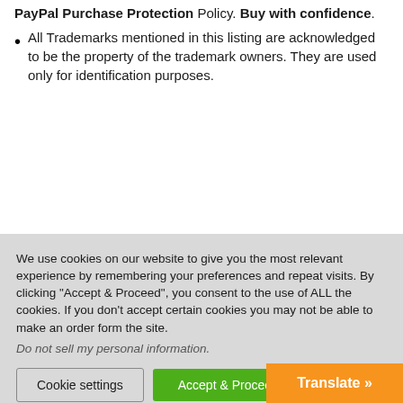PayPal Purchase Protection Policy. Buy with confidence.
All Trademarks mentioned in this listing are acknowledged to be the property of the trademark owners. They are used only for identification purposes.
We use cookies on our website to give you the most relevant experience by remembering your preferences and repeat visits. By clicking “Accept & Proceed”, you consent to the use of ALL the cookies. If you don't accept certain cookies you may not be able to make an order form the site.
Do not sell my personal information.